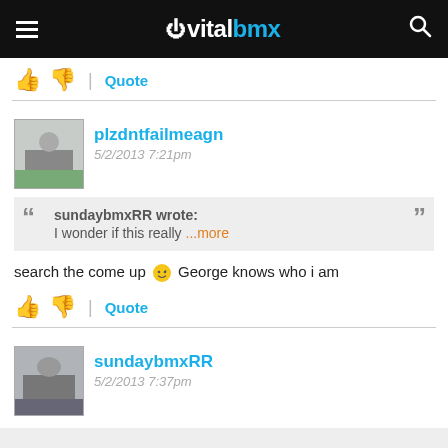vitalbmx
👍 👎 | Quote
plzdntfailmeagn
5/2/2013 7:21pm
sundaybmxRR wrote:
I wonder if this really ...more
search the come up 😉 George knows who i am
👍 👎 | Quote
sundaybmxRR
5/2/2013 7:37pm